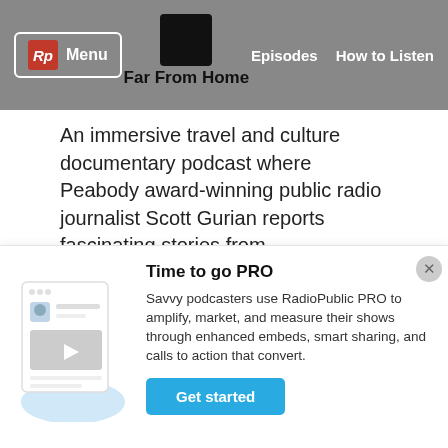Menu | Far From Home | Episodes | How to Listen
An immersive travel and culture documentary podcast where Peabody award-winning public radio journalist Scott Gurian reports fascinating stories from ...
Learn More
[Figure (screenshot): Podcast app illustration for RadioPublic PRO promotion]
Time to go PRO
Savvy podcasters use RadioPublic PRO to amplify, market, and measure their shows through enhanced embeds, smart sharing, and calls to action that convert.
Get started